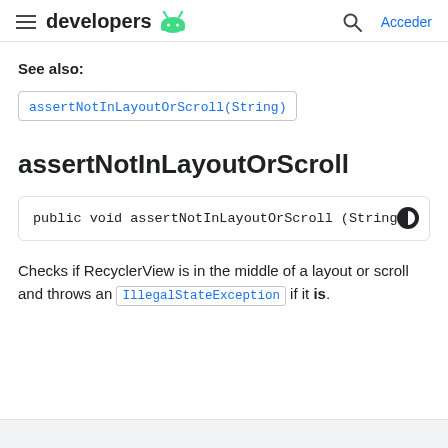developers — Acceder
See also:
assertNotInLayoutOrScroll(String)
assertNotInLayoutOrScroll
public void assertNotInLayoutOrScroll (String messag
Checks if RecyclerView is in the middle of a layout or scroll and throws an IllegalStateException if it is.